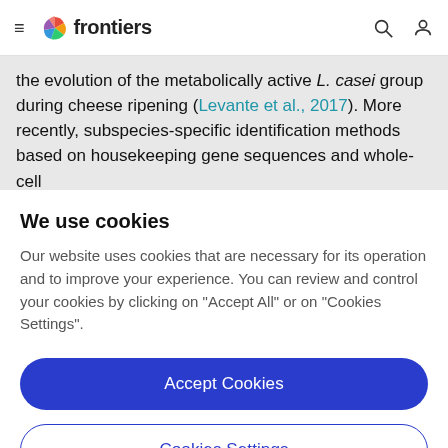frontiers
the evolution of the metabolically active L. casei group during cheese ripening (Levante et al., 2017). More recently, subspecies-specific identification methods based on housekeeping gene sequences and whole-cell
We use cookies
Our website uses cookies that are necessary for its operation and to improve your experience. You can review and control your cookies by clicking on "Accept All" or on "Cookies Settings".
Accept Cookies
Cookies Settings